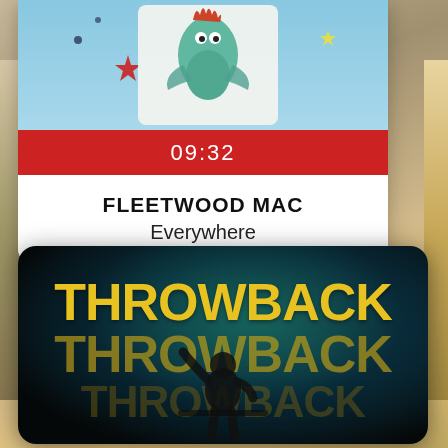[Figure (screenshot): Album art for a music card showing illustrated space/fantasy scene with blue sky background, decorative stars, and character artwork]
09:32
FLEETWOOD MAC
Everywhere
[Figure (illustration): Throwback playlist card with dark moody background, silhouette of person with raised arm, and bold yellow THROWBACK text repeated three times with decreasing opacity creating a reflection effect]